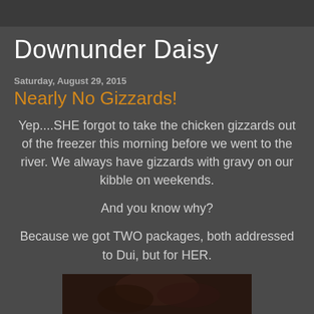Downunder Daisy
Saturday, August 29, 2015
Nearly No Gizzards!
Yep....SHE forgot to take the chicken gizzards out of the freezer this morning before we went to the river. We always have gizzards with gravy on our kibble on weekends.

And you know why?

Because we got TWO packages, both addressed to Dui, but for HER.
[Figure (photo): A dark photo partially visible at the bottom of the page]